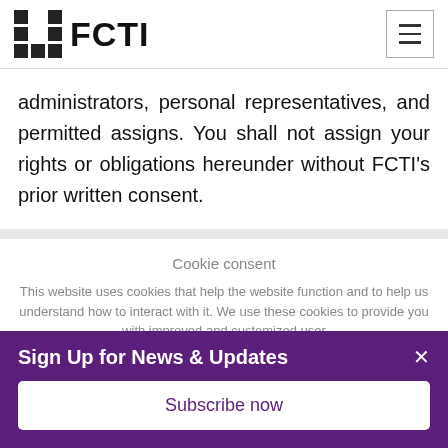FCTI
administrators, personal representatives, and permitted assigns. You shall not assign your rights or obligations hereunder without FCTI's prior written consent.
Cookie consent
This website uses cookies that help the website function and to help us understand how to interact with it. We use these cookies to provide you with improved and customized user
Sign Up for News & Updates
Subscribe now